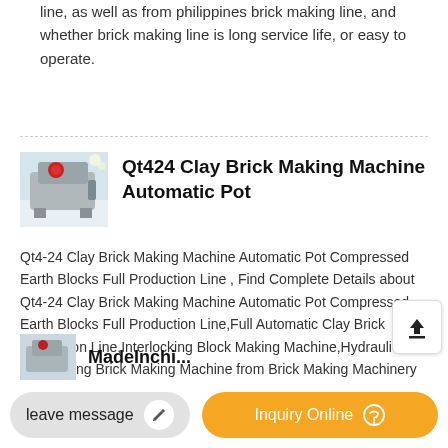line, as well as from philippines brick making line, and whether brick making line is long service life, or easy to operate.
[Figure (photo): Industrial clay brick making machine - grey/white mechanical equipment]
Qt424 Clay Brick Making Machine Automatic Pot
Qt4-24 Clay Brick Making Machine Automatic Pot Compressed Earth Blocks Full Production Line , Find Complete Details about Qt4-24 Clay Brick Making Machine Automatic Pot Compressed Earth Blocks Full Production Line,Full Automatic Clay Brick Production Line,Interlocking Block Making Machine,Hydraulic Interlocking Brick Making Machine from Brick Making Machinery Supplier or ...
leave message
Inquiry Online
MadeInchi...